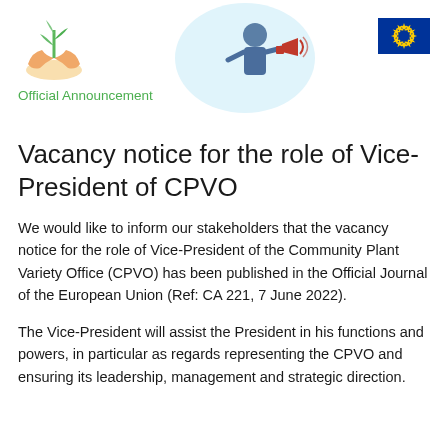[Figure (illustration): Plant/leaves held by hands logo in top-left, decorative illustration of person with megaphone in center, EU flag in top-right]
Official Announcement
Vacancy notice for the role of Vice-President of CPVO
We would like to inform our stakeholders that the vacancy notice for the role of Vice-President of the Community Plant Variety Office (CPVO) has been published in the Official Journal of the European Union (Ref: CA 221, 7 June 2022).
The Vice-President will assist the President in his functions and powers, in particular as regards representing the CPVO and ensuring its leadership, management and strategic direction.